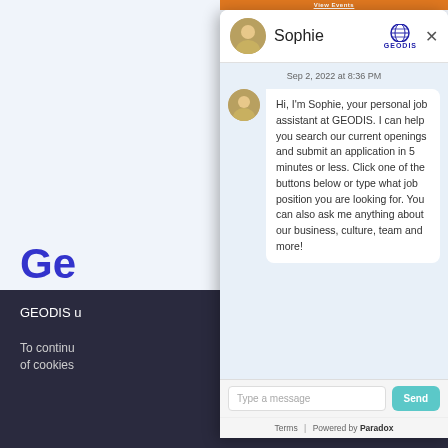View Events
[Figure (screenshot): Chat widget for GEODIS job assistant Sophie, showing a welcome message and message input area]
Sophie
Sep 2, 2022 at 8:36 PM
Hi, I'm Sophie, your personal job assistant at GEODIS. I can help you search our current openings and submit an application in 5 minutes or less. Click one of the buttons below or type what job position you are looking for. You can also ask me anything about our business, culture, team and more!
Type a message
Send
Terms | Powered by Paradox
Ge
GEODIS u
To continu of cookies